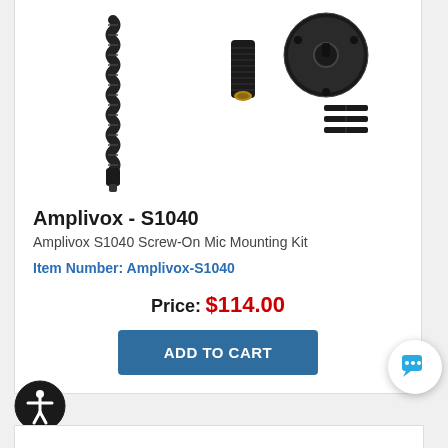[Figure (photo): Product photo of Amplivox S1040 Screw-On Mic Mounting Kit showing a flexible gooseneck arm, a threaded connector piece, a circular mounting plate, and small screws on a white background]
Amplivox - S1040
Amplivox S1040 Screw-On Mic Mounting Kit
Item Number: Amplivox-S1040
Price: $114.00
ADD TO CART